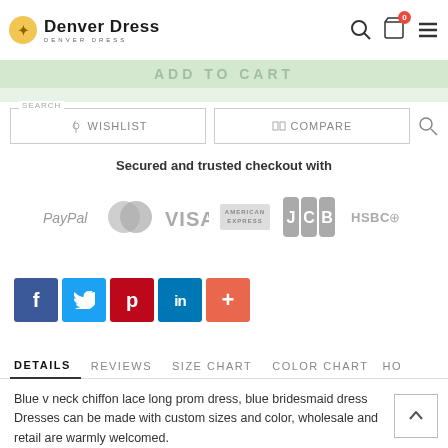[Figure (screenshot): Denver Dress website header with logo, search icon, cart icon with badge showing 0, and menu icon]
ADD TO CART
[Figure (screenshot): Search bar with WISHLIST and COMPARE buttons, and a search icon]
Secured and trusted checkout with
[Figure (logo): Payment method logos: PayPal, MasterCard, VISA, American Express, JCB, HSBC]
[Figure (infographic): Social media share buttons: Facebook, Twitter, Pinterest, LinkedIn, and a plus button]
DETAILS   REVIEWS   SIZE CHART   COLOR CHART   HO
Blue v neck chiffon lace long prom dress, blue bridesmaid dress
Dresses can be made with custom sizes and color, wholesale and retail are warmly welcomed.